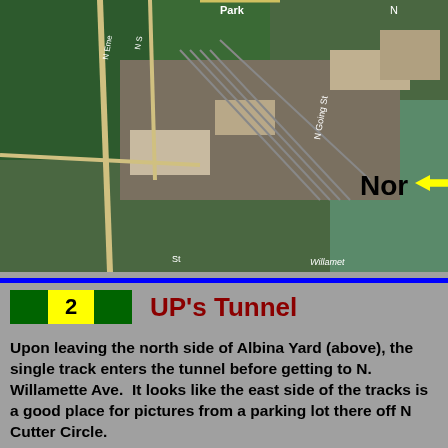[Figure (photo): Aerial/satellite map view of Albina Yard area, showing rail tracks, buildings, streets including N Going St, and the Willamette River. A yellow arrow points left with the label 'Nor' (North) partially visible.]
2   UP's Tunnel
Upon leaving the north side of Albina Yard (above), the single track enters the tunnel before getting to N. Willamette Ave.  It looks like the east side of the tracks is a good place for pictures from a parking lot there off N Cutter Circle.
On the north side of the tunnel, it crosses the diamond, and then to a bridge crossing the Columbia Slough (a small, very small branch of the Columbia River which splits off at Kelly Point), then joins up with the BNSF to cross the Columbia River in two places (bridge - Hayden Island - bridge) into Vancouver and the Amtrak station there.